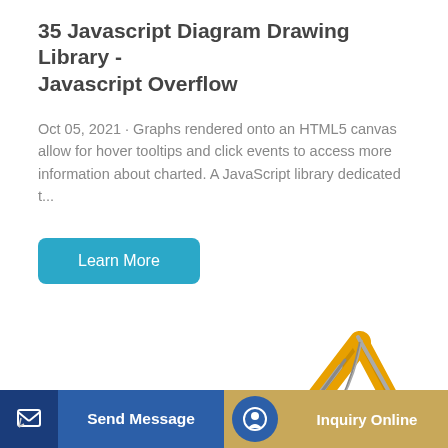35 Javascript Diagram Drawing Library - Javascript Overflow
Oct 05, 2021 · Graphs rendered onto an HTML5 canvas allow for hover tooltips and click events to access more information about charted. A JavaScript library dedicated t...
Learn More
[Figure (illustration): Yellow construction excavator/digger with extended arm and bucket attachment, shown against a white background]
Send Message
Inquiry Online